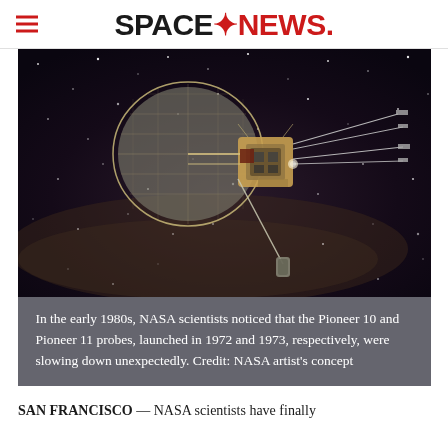SPACENEWS.
[Figure (illustration): Artist's concept of a Pioneer spacecraft (Pioneer 10 or 11) in deep space against a dark starfield with the Milky Way visible in the background. The spacecraft has a large dish antenna and extended booms.]
In the early 1980s, NASA scientists noticed that the Pioneer 10 and Pioneer 11 probes, launched in 1972 and 1973, respectively, were slowing down unexpectedly. Credit: NASA artist's concept
SAN FRANCISCO — NASA scientists have finally